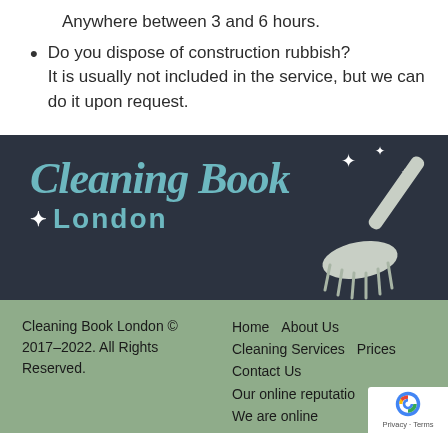Anywhere between 3 and 6 hours.
Do you dispose of construction rubbish? It is usually not included in the service, but we can do it upon request.
[Figure (logo): Cleaning Book London logo with broom graphic on dark navy background]
Cleaning Book London © 2017-2022. All Rights Reserved.
Home   About Us   Cleaning Services   Prices   Contact Us   Our online reputation   We are online